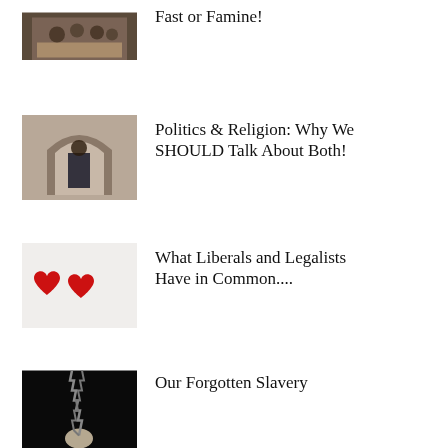[Figure (photo): People seated at a dining table, group meal scene]
Fast or Famine!
[Figure (photo): Person in religious setting under arched architecture]
Politics & Religion: Why We SHOULD Talk About Both!
[Figure (photo): Two red heart shapes on white background]
What Liberals and Legalists Have in Common....
[Figure (photo): Black and white image of chains held in a hand against dark background]
Our Forgotten Slavery